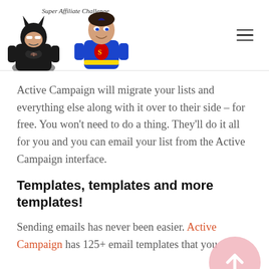[Figure (logo): Super Affiliate Challenge logo with two LEGO figures (Batman and Superman) and cursive text reading 'Super Affiliate Challenge']
Active Campaign will migrate your lists and everything else along with it over to their side – for free. You won't need to do a thing. They'll do it all for you and you can email your list from the Active Campaign interface.
Templates, templates and more templates!
Sending emails has never been easier. Active Campaign has 125+ email templates that you